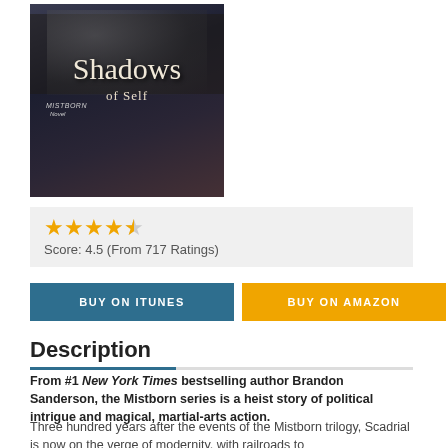[Figure (photo): Book cover of 'Shadows of Self' - a Mistborn Novel, showing two figures in dark attire on a dark background with the title text in serif font]
Score: 4.5 (From 717 Ratings)
BUY ON ITUNES
BUY ON AMAZON
+
Description
From #1 New York Times bestselling author Brandon Sanderson, the Mistborn series is a heist story of political intrigue and magical, martial-arts action.
Three hundred years after the events of the Mistborn trilogy, Scadrial is now on the verge of modernity, with railroads to